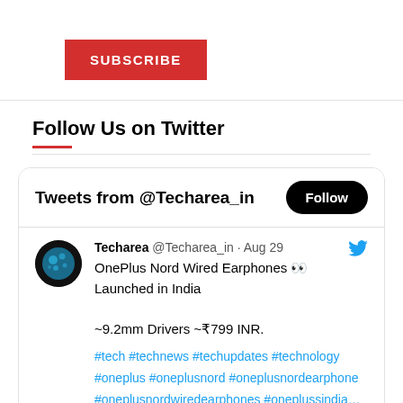[Figure (other): Red SUBSCRIBE button with white uppercase text]
Follow Us on Twitter
[Figure (screenshot): Twitter widget card showing Tweets from @Techarea_in with a Follow button, and a tweet from Techarea @Techarea_in dated Aug 29 about OnePlus Nord Wired Earphones Launched in India, ~9.2mm Drivers ~₹799 INR, with hashtags #tech #technews #techupdates #technology #oneplus #oneplusnord #oneplusnordearphone #oneplusnordwiredearphones #oneplussindia]